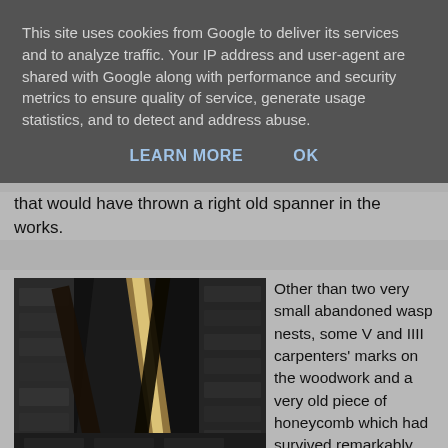This site uses cookies from Google to deliver its services and to analyze traffic. Your IP address and user-agent are shared with Google along with performance and security metrics to ensure quality of service, generate usage statistics, and to detect and address abuse.
LEARN MORE    OK
that would have thrown a right old spanner in the works.
[Figure (photo): Dark interior photo of what appears to be a roof or loft space, showing old wooden beams and masonry/stone walls with a beam of light coming through a gap.]
Other than two very small abandoned wasp nests, some V and IIII carpenters' marks on the woodwork and a very old piece of honeycomb which had survived remarkably well beneath the fibreglass there wasn't much else to see so